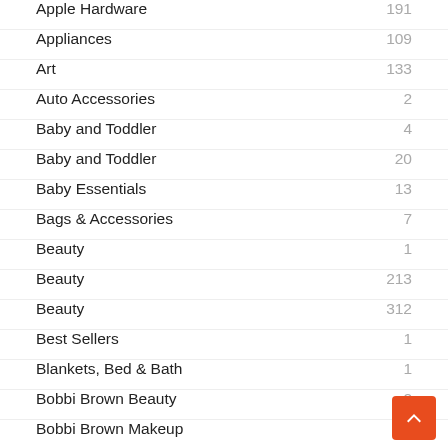Apple Hardware 191
Appliances 109
Art 133
Auto Accessories 2
Baby and Toddler 4
Baby and Toddler 20
Baby Essentials 13
Bags & Accessories 7
Beauty 1
Beauty 213
Beauty 312
Best Sellers 1
Blankets, Bed & Bath 1
Bobbi Brown Beauty 2
Bobbi Brown Makeup 3
Books